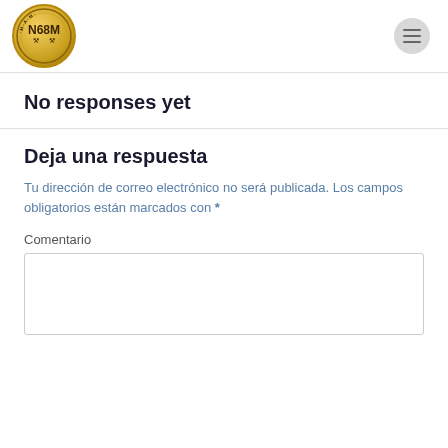[Figure (logo): N68M circular gold logo badge with hammer icons and text around the border]
No responses yet
Deja una respuesta
Tu dirección de correo electrónico no será publicada. Los campos obligatorios están marcados con *
Comentario